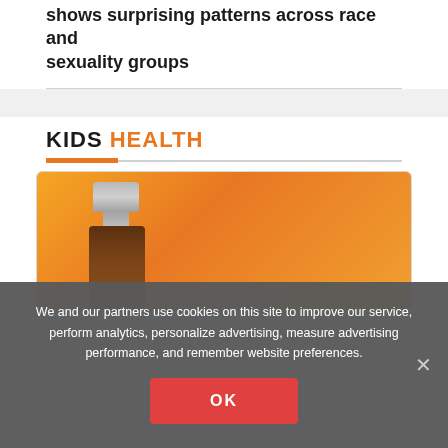shows surprising patterns across race and sexuality groups
KIDS HEALTH
[Figure (photo): Medication bottle with a silver cap against an orange background]
We and our partners use cookies on this site to improve our service, perform analytics, personalize advertising, measure advertising performance, and remember website preferences.